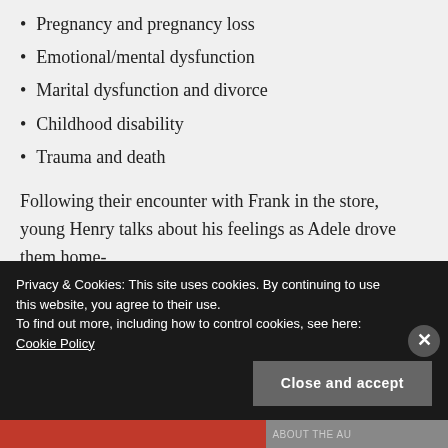Pregnancy and pregnancy loss
Emotional/mental dysfunction
Marital dysfunction and divorce
Childhood disability
Trauma and death
Following their encounter with Frank in the store, young Henry talks about his feelings as Adele drove them home-
“In the seat next to her, I studied my mother’s face, to
Privacy & Cookies: This site uses cookies. By continuing to use this website, you agree to their use. To find out more, including how to control cookies, see here: Cookie Policy
Close and accept